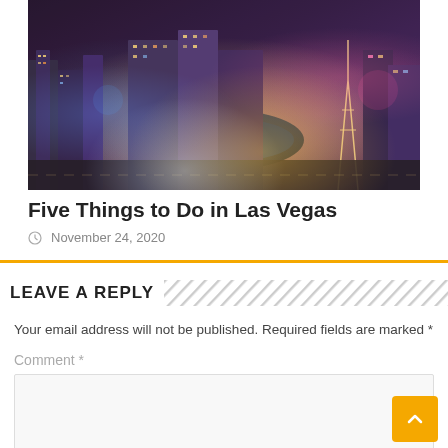[Figure (photo): Aerial night view of Las Vegas Strip showing hotels, casinos, the Bellagio fountains, and colorful lights]
Five Things to Do in Las Vegas
November 24, 2020
LEAVE A REPLY
Your email address will not be published. Required fields are marked *
Comment *